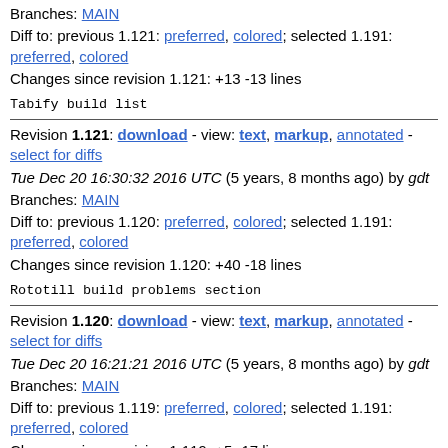Branches: MAIN
Diff to: previous 1.121: preferred, colored; selected 1.191: preferred, colored
Changes since revision 1.121: +13 -13 lines
Tabify build list
Revision 1.121: download - view: text, markup, annotated - select for diffs
Tue Dec 20 16:30:32 2016 UTC (5 years, 8 months ago) by gdt
Branches: MAIN
Diff to: previous 1.120: preferred, colored; selected 1.191: preferred, colored
Changes since revision 1.120: +40 -18 lines
Rototill build problems section
Revision 1.120: download - view: text, markup, annotated - select for diffs
Tue Dec 20 16:21:21 2016 UTC (5 years, 8 months ago) by gdt
Branches: MAIN
Diff to: previous 1.119: preferred, colored; selected 1.191: preferred, colored
Changes since revision 1.119: +5 -17 lines
Prop. netbsd-5 build info